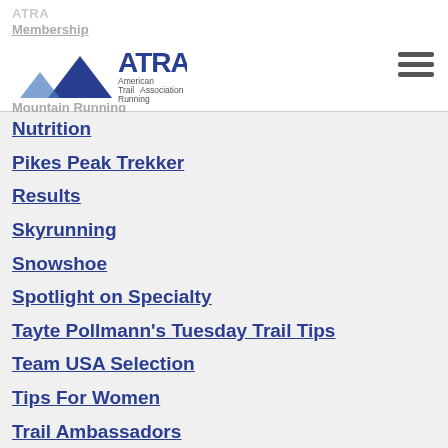ATRA / Membership / Mountain Running
[Figure (logo): American Trail Running Association logo with mountain/triangle icon and text]
Nutrition
Pikes Peak Trekker
Results
Skyrunning
Snowshoe
Spotlight on Specialty
Tayte Pollmann's Tuesday Trail Tips
Team USA Selection
Tips For Women
Trail Ambassadors
Trail Conference
Trail Running
Trail Running Tips
Trail Shoes
Trail Times
Trail Times Newsletters